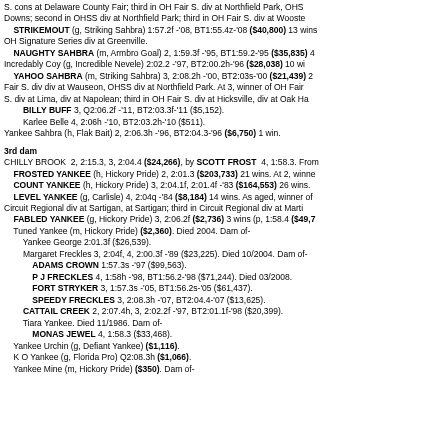S. cons at Delaware County Fair; third in OH Fair S. div at Northfield Park, OHS Downs; second in OHSS div at Northfield Park; third in OH Fair S. div at Wooste STRIKEMOUT (g, Striking Sahbra) 1:57.2f -'08, BT1:55.4z-'08 ($40,800) 13 wins OH Signature Series div at Greenville.
NAUGHTY SAHBRA (m, Armbro Goal) 2, 1:59.3f -'95, BT1:59.2-'95 ($35,835) 4 Incredably Coy (g, Incredible Nevele) 2:02.2 -'97, BT2:00.2h-'96 ($28,038) 10 wi YAHOO SAHBRA (m, Striking Sahbra) 3, 2:08.2h -'00, BT2:03s-'00 ($21,439) 2 Fair S. div div at Wauseon, OHSS div at Northfield Park. At 3, winner of OH Fair S. div at Lima, div at Napolean; third in OH Fair S. div at Hicksville, div at Oak Ha BILLY BUFF 3, Q2:06.2f -'11, BT2:03.3f-'11 ($5,152). Karlee Belle 4, 2:06h -'10, BT2:03.2h-'10 ($511). Yankee Sahbra (h, Flak Bait) 2, 2:06.3h -'96, BT2:04.3-'96 ($6,750) 1 win.
3rd dam
CHILLY BROOK 2, 2:15.3, 3, 2:04.4 ($24,266), by SCOTT FROST 4, 1:58.3. From FROSTED YANKEE (h, Hickory Pride) 2, 2:01.3 ($203,733) 21 wins. At 2, winne COUNT YANKEE (h, Hickory Pride) 3, 2:04.1f, 2:01.4f -'83 ($164,553) 26 wins. LEVEL YANKEE (g, Carlisle) 4, 2:04q -'84 ($8,184) 14 wins. As aged, winner of Circuit Regional div at Sartigan, at Sartigan; third in Circuit Regional div at Marti FABLED YANKEE (g, Hickory Pride) 3, 2:06.2f ($2,736) 3 wins (p, 1:58.4 ($49,7 Tuned Yankee (m, Hickory Pride) ($2,360). Died 2004. Dam of- Yankee George 2:01.3f ($26,539). Margaret Freckles 3, 2:04f, 4, 2:00.3f -'89 ($23,225). Died 10/2004. Dam of- ADAMS CROWN 1:57.3s -'97 ($99,563). P J FRECKLES 4, 1:58h -'98, BT1:56.2-'98 ($71,244). Died 03/2008. FORT STRYKER 3, 1:57.3s -'05, BT1:56.2s-'05 ($61,437). SPEEDY FRECKLES 3, 2:08.3h -'07, BT2:04.4-'07 ($13,625). CATTAIL CREEK 2, 2:07.4h, 3, 2:02.2f -'97, BT2:01.1f-'98 ($20,399). Tiara Yankee. Died 11/1986. Dam of- MONAS JEWEL 4, 1:58.3 ($33,468). Yankee Urchin (g, Defiant Yankee) ($1,116). K O Yankee (g, Florida Pro) Q2:08.3h ($1,066). Yankee Mine (m, Hickory Pride) ($350). Dam of-